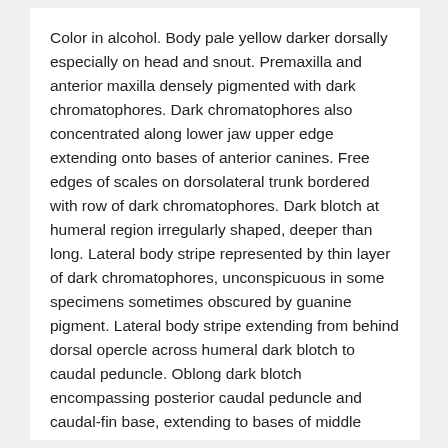Color in alcohol. Body pale yellow darker dorsally especially on head and snout. Premaxilla and anterior maxilla densely pigmented with dark chromatophores. Dark chromatophores also concentrated along lower jaw upper edge extending onto bases of anterior canines. Free edges of scales on dorsolateral trunk bordered with row of dark chromatophores. Dark blotch at humeral region irregularly shaped, deeper than long. Lateral body stripe represented by thin layer of dark chromatophores, unconspicuous in some specimens sometimes obscured by guanine pigment. Lateral body stripe extending from behind dorsal opercle across humeral dark blotch to caudal peduncle. Oblong dark blotch encompassing posterior caudal peduncle and caudal-fin base, extending to bases of middle caudal-fin rays. Mental area of lower jaw with diffuse dark patch of dark chromatophores. Dorsal-fin origin with black spot extending onto base of first unbranched ray. All fins pale with very few chromatophores except dorsal and pectoral fins where dark chromatophores are mostly concentrated along